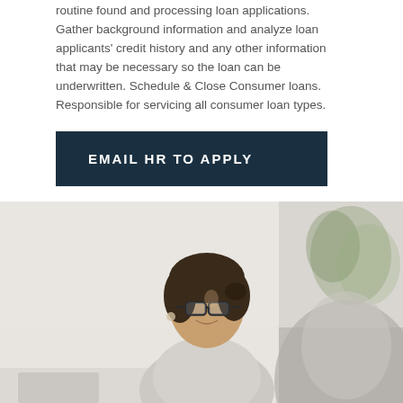routine found and processing loan applications. Gather background information and analyze loan applicants' credit history and any other information that may be necessary so the loan can be underwritten. Schedule & Close Consumer loans. Responsible for servicing all consumer loan types.
EMAIL HR TO APPLY
VIEW FULL JOB DESCRIPTION
[Figure (photo): A smiling woman with glasses and dark hair pulled back, wearing a light grey top, appears to be in a professional meeting or consultation setting. A blurred person is visible in the foreground, and a plant is visible in the background.]